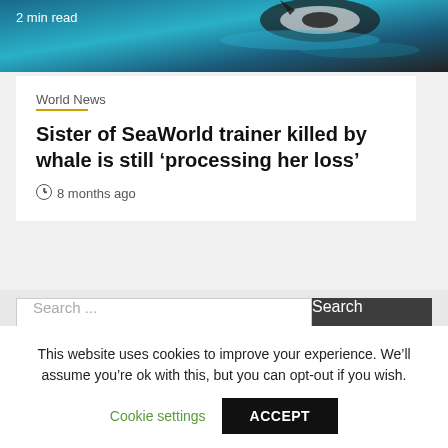[Figure (photo): Orca killer whale in blue water, partially visible at top of page]
2 min read
World News
Sister of SeaWorld trainer killed by whale is still ‘processing her loss’
8 months ago
Search ...
This website uses cookies to improve your experience. We’ll assume you’re ok with this, but you can opt-out if you wish.
Cookie settings
ACCEPT